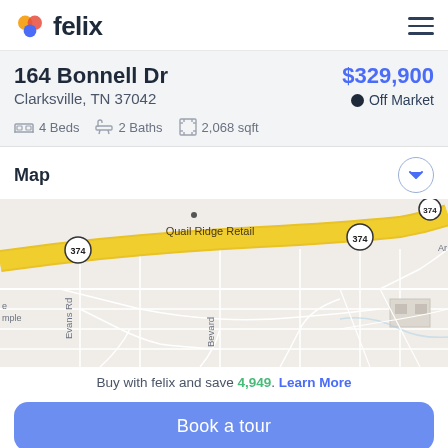felix
164 Bonnell Dr
Clarksville, TN 37042
$329,900 Off Market
4 Beds  2 Baths  2,068 sqft
Map
[Figure (map): Street map showing area around 164 Bonnell Dr, Clarksville TN 37042. Shows route 374 (Quail Ridge Retail), Evans Rd, and Bevard road. Yellow highlighted highway running horizontally.]
Buy with felix and save 4,949. Learn More
Book a tour